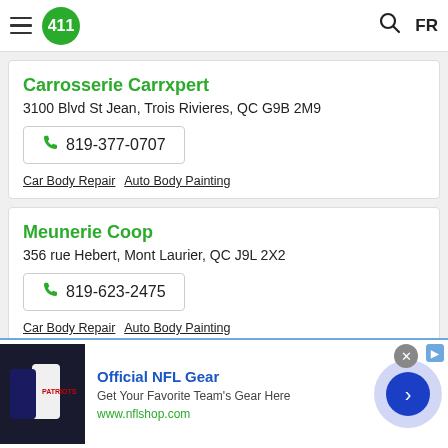411 logo navigation bar with hamburger menu, search icon, FR language toggle
Carrosserie Carrxpert
3100 Blvd St Jean, Trois Rivieres, QC  G9B 2M9
📞 819-377-0707
Car Body Repair  Auto Body Painting
Meunerie Coop
356 rue Hebert, Mont Laurier, QC  J9L 2X2
📞 819-623-2475
Car Body Repair  Auto Body Painting
Official NFL Gear
Get Your Favorite Team's Gear Here
www.nflshop.com